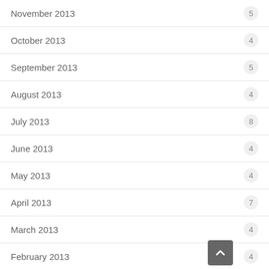November 2013
October 2013
September 2013
August 2013
July 2013
June 2013
May 2013
April 2013
March 2013
February 2013
January 2013